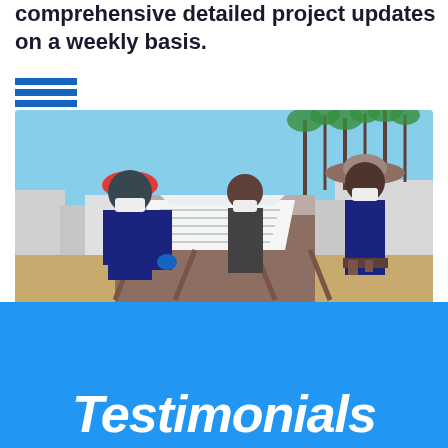comprehensive detailed project updates on a weekly basis.
[Figure (photo): Three construction workers wearing masks and hard hats reviewing blueprints on a sawhorse table outdoors. One worker wears a red hard hat and blue gloves, another wears a wide-brimmed hat with tool belt. Palm trees and buildings visible in background.]
Testimonials